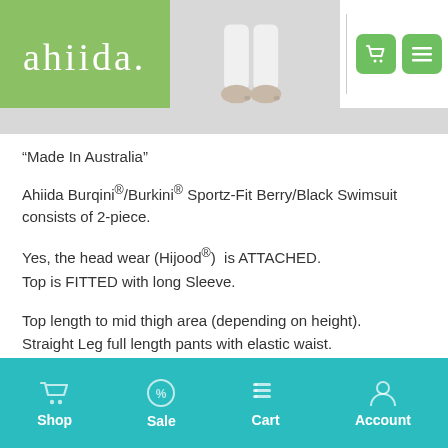Ahiida website header with logo and navigation
[Figure (photo): Hero image showing feet/lower body in white garment against grey background]
“Made In Australia”
Ahiida Burqini®/Burkini® Sportz-Fit Berry/Black Swimsuit consists of 2-piece.
Yes, the head wear (Hijood®)  is ATTACHED.
Top is FITTED with long Sleeve.
Top length to mid thigh area (depending on height).
Straight Leg full length pants with elastic waist.
Shop | Sale | Cart | Account